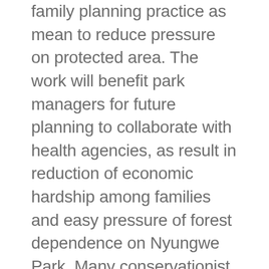family planning practice as mean to reduce pressure on protected area. The work will benefit park managers for future planning to collaborate with health agencies, as result in reduction of economic hardship among families and easy pressure of forest dependence on Nyungwe Park. Many conservationist organizations lack or fail to integrate the population, health and environment into biodiversity conservation. Thus, this work will be a baseline for future policy makers, conservationist's agencies, researchers and governments, that need to contribute on conservation of Nyungwe Park